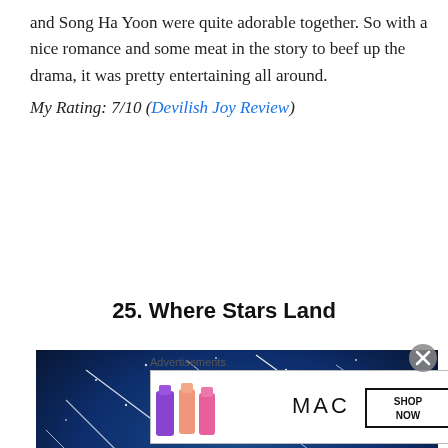and Song Ha Yoon were quite adorable together. So with a nice romance and some meat in the story to beef up the drama, it was pretty entertaining all around.
My Rating: 7/10 (Devilish Joy Review)
25. Where Stars Land
[Figure (photo): Promotional image for 'Where Stars Land' showing two figures standing under a dramatic starry night sky with shooting stars streaking across a deep blue background.]
Advertisements
[Figure (screenshot): MAC cosmetics advertisement showing colorful lipsticks with SHOP NOW button]